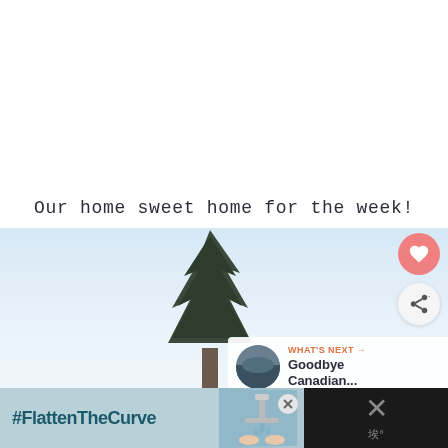Our home sweet home for the week!
[Figure (photo): Tall pine tree viewed from below against a cloudy blue-white sky, with social interaction buttons (heart/like and share) overlaid on the right side, and a 'What's Next' panel showing a thumbnail and 'Goodbye Canadian...' text]
#FlattenTheCurve
[Figure (photo): Advertisement banner showing hands washing at a faucet, part of a #FlattenTheCurve campaign]